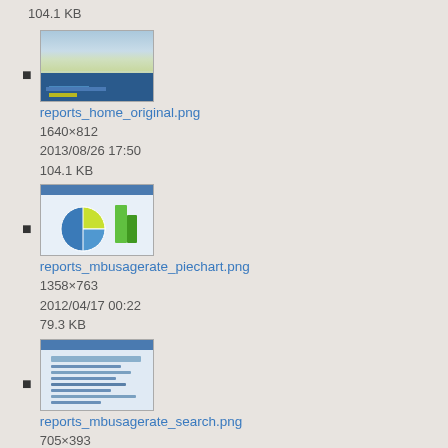104.1 KB
reports_home_original.png
1640×812
2013/08/26 17:50
104.1 KB
reports_mbusagerate_piechart.png
1358×763
2012/04/17 00:22
79.3 KB
reports_mbusagerate_search.png
705×393
2013/10/25 21:01
19.3 KB